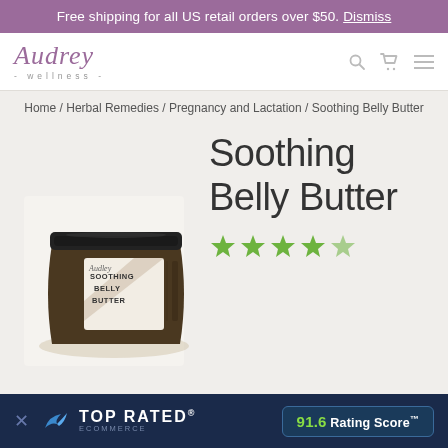Free shipping for all US retail orders over $50. Dismiss
[Figure (logo): Audrey Wellness cursive logo with '-wellness-' subtitle]
Home / Herbal Remedies / Pregnancy and Lactation / Soothing Belly Butter
Soothing Belly Butter
[Figure (photo): Dark amber glass jar of Soothing Belly Butter with black lid and label showing 'Audley SOOTHING BELLY BUTTER']
[Figure (other): Five green star rating icons]
TOP RATED ECOMMERCE — 91.6 Rating Score™